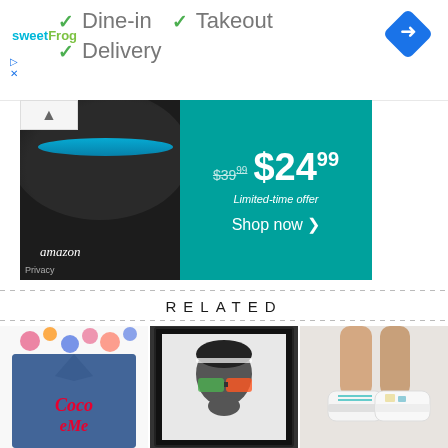[Figure (screenshot): SweetFrog logo top left with green checkmarks for Dine-in, Takeout, Delivery options and a blue navigation arrow icon top right]
[Figure (screenshot): Amazon Echo Dot advertisement banner with teal background showing price $39.99 crossed out and $24.99 limited-time offer with Shop now button]
RELATED
[Figure (photo): Three related images: denim jacket with Coco Me embroidery, black and white photo of woman wearing floral sunglasses in dark frame, and white sneakers on legs]